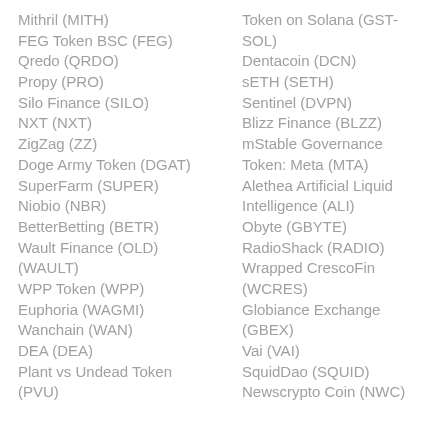Mithril (MITH)
FEG Token BSC (FEG)
Qredo (QRDO)
Propy (PRO)
Silo Finance (SILO)
NXT (NXT)
ZigZag (ZZ)
Doge Army Token (DGAT)
SuperFarm (SUPER)
Niobio (NBR)
BetterBetting (BETR)
Wault Finance (OLD) (WAULT)
WPP Token (WPP)
Euphoria (WAGMI)
Wanchain (WAN)
DEA (DEA)
Plant vs Undead Token (PVU)
Token on Solana (GST-SOL)
Dentacoin (DCN)
sETH (SETH)
Sentinel (DVPN)
Blizz Finance (BLZZ)
mStable Governance Token: Meta (MTA)
Alethea Artificial Liquid Intelligence (ALI)
Obyte (GBYTE)
RadioShack (RADIO)
Wrapped CrescoFin (WCRES)
Globiance Exchange (GBEX)
Vai (VAI)
SquidDao (SQUID)
Newscrypto Coin (NWC)